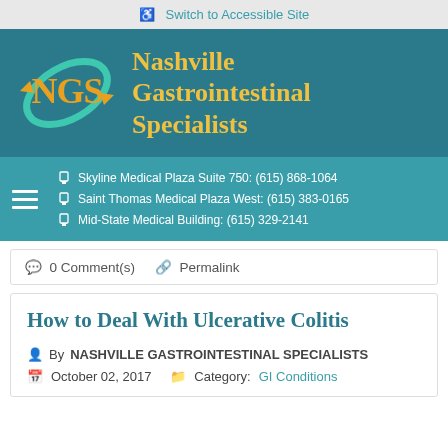Switch to Accessible Site
[Figure (logo): Nashville Gastrointestinal Specialists (NGS) logo with teal swoosh and gold lettering on dark teal background]
Skyline Medical Plaza Suite 750: (615) 868-1064
Saint Thomas Medical Plaza West: (615) 383-0165
Mid-State Medical Building: (615) 329-2141
0 Comment(s)   Permalink
How to Deal With Ulcerative Colitis
By NASHVILLE GASTROINTESTINAL SPECIALISTS
October 02, 2017   Category: GI Conditions